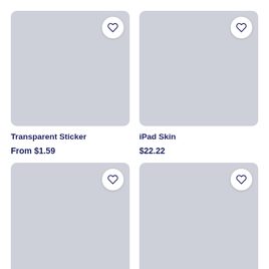[Figure (screenshot): Product image placeholder (grey rectangle) for Transparent Sticker with heart/favorite button]
[Figure (screenshot): Product image placeholder (grey rectangle) for iPad Skin with heart/favorite button]
Transparent Sticker
From $1.59
iPad Skin
$22.22
[Figure (screenshot): Product image placeholder (grey rectangle) with heart/favorite button (partially visible, bottom row left)]
[Figure (screenshot): Product image placeholder (grey rectangle) with heart/favorite button (partially visible, bottom row right)]